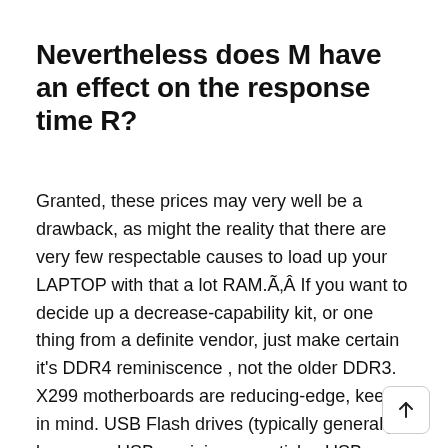Nevertheless does M have an effect on the response time R?
Granted, these prices may very well be a drawback, as might the reality that there are very few respectable causes to load up your LAPTOP with that a lot RAM.Ã‚Â If you want to decide up a decrease-capability kit, or one thing from a definite vendor, just make certain it's DDR4 reminiscence , not the older DDR3. X299 motherboards are reducing-edge, keep in mind. USB Flash drives (typically generally known as USB reminiscence sticks, USB pen drives or USB thumb drives) have been first commercially obtainable